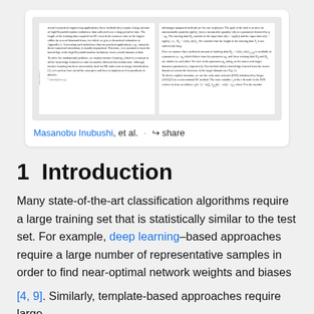[Figure (screenshot): Thumbnail preview of a scientific paper with two-column text layout and an arXiv watermark on the left column]
Masanobu Inubushi, et al. · share
1  Introduction
Many state-of-the-art classification algorithms require a large training set that is statistically similar to the test set. For example, deep learning–based approaches require a large number of representative samples in order to find near-optimal network weights and biases
[4, 9]. Similarly, template-based approaches require large